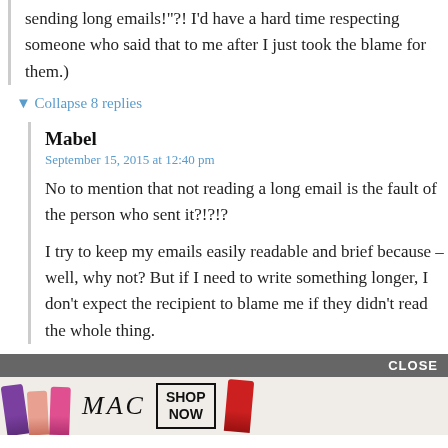sending long emails!”?! I’d have a hard time respecting someone who said that to me after I just took the blame for them.)
▼ Collapse 8 replies
Mabel
September 15, 2015 at 12:40 pm
No to mention that not reading a long email is the fault of the person who sent it?!?!?
I try to keep my emails easily readable and brief because – well, why not? But if I need to write something longer, I don’t expect the recipient to blame me if they didn’t read the whole thing.
CLOSE
[Figure (photo): MAC cosmetics advertisement banner with lipsticks, MAC logo, and SHOP NOW button]